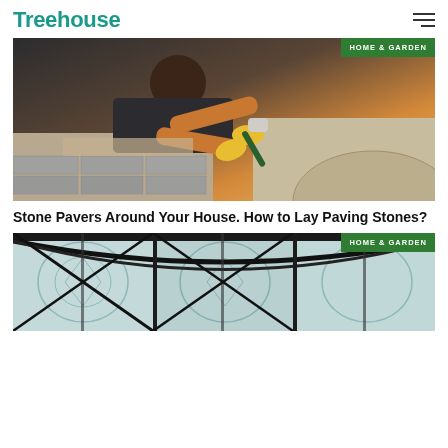Treehouse
[Figure (photo): Worker laying paving stones with yellow gloves and a mallet, concrete block pavers visible in foreground.]
Stone Pavers Around Your House. How to Lay Paving Stones?
[Figure (photo): Decorative arched ceiling or gazebo with ornate tiling visible underneath metal frame structure.]